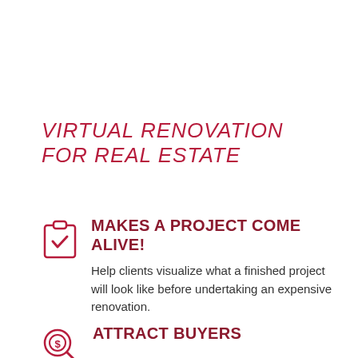VIRTUAL RENOVATION FOR REAL ESTATE
MAKES A PROJECT COME ALIVE!
Help clients visualize what a finished project will look like before undertaking an expensive renovation.
ATTRACT BUYERS